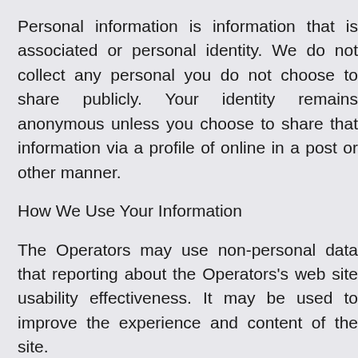Personal information is information that is associated with or personal identity. We do not collect any personal information you do not choose to share publicly. Your identity remains anonymous unless you choose to share that information via a profile of online in a post or other manner.
How We Use Your Information
The Operators may use non-personal data that for reporting about the Operators's web site usability and effectiveness. It may be used to improve the experience and content of the site.
The Operators do not use personal information for any
Information Sharing
The Operators does not sell, rent, or lease any in